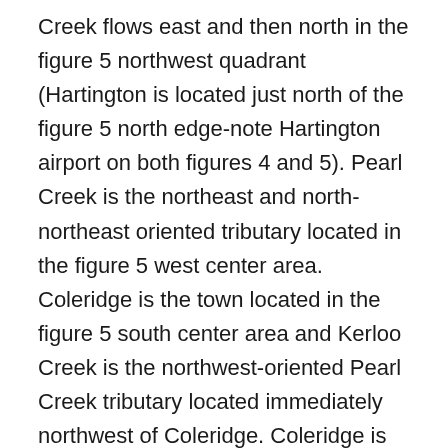Creek flows east and then north in the figure 5 northwest quadrant (Hartington is located just north of the figure 5 north edge-note Hartington airport on both figures 4 and 5). Pearl Creek is the northeast and north-northeast oriented tributary located in the figure 5 west center area. Coleridge is the town located in the figure 5 south center area and Kerloo Creek is the northwest-oriented Pearl Creek tributary located immediately northwest of Coleridge. Coleridge is located in a northwest-southeast oriented through valley and southeast of Coleridge the through valley is drained by southeast oriented Perrin Creek, which flows to southeast and south oriented Logan Creek. Dead Creek flows north in the figure 5 north center area and the northwest-oriented stream in the figure 5 northeast corner is East Bow Creek. North Logan Creek is the southeast oriented stream located east of Coleridge